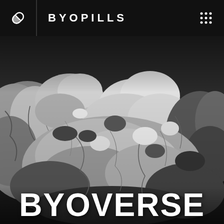BYOPILLS
[Figure (photo): Black and white close-up photograph of a rocky, asteroid-like or comet surface with craggy, irregular terrain filling the background.]
BYOVERSE